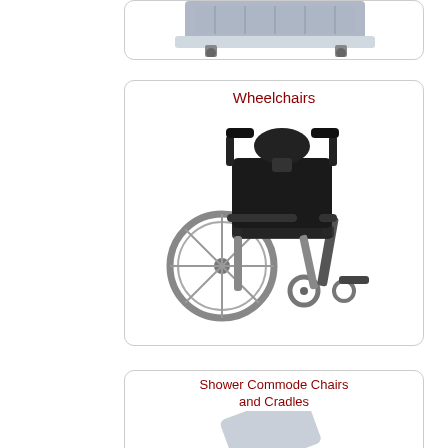[Figure (photo): Partial view of a medical product (bed or mattress on wheels) in a rounded-corner card, cropped at top of page]
[Figure (photo): Wheelchairs category card showing a reclining wheelchair with headrest, black upholstery, large rear wheels and leg rests, on white background]
Wheelchairs
[Figure (photo): Shower Commode Chairs and Cradles category card showing a reclining shower commode chair with footrests and support handles, grey/white color]
Shower Commode Chairs and Cradles